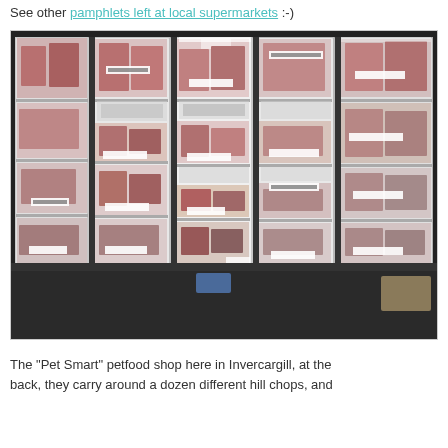See other pamphlets left at local supermarkets :-)
[Figure (photo): Photo of a 'Pet Smart' petfood shop refrigerator display case showing multiple glass-door freezer units filled with raw meat products on multiple shelves, set against a dark floor.]
The "Pet Smart" petfood shop here in Invercargill, at the back, they carry around a dozen different hill chops, and